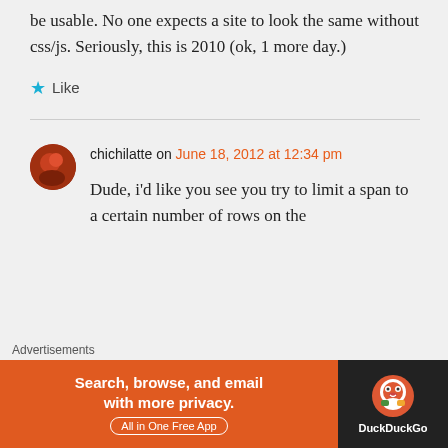be usable. No one expects a site to look the same without css/js. Seriously, this is 2010 (ok, 1 more day.)
★ Like
chichilatte on June 18, 2012 at 12:34 pm
Dude, i'd like you see you try to limit a span to a certain number of rows on the
Advertisements
[Figure (screenshot): DuckDuckGo advertisement banner: orange left section with text 'Search, browse, and email with more privacy. All in One Free App' and dark right section with DuckDuckGo logo and name.]